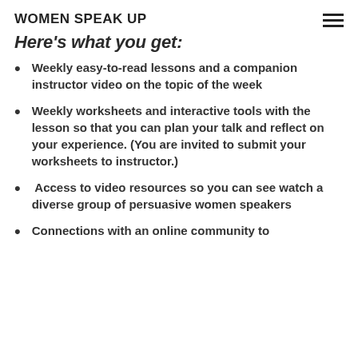WOMEN SPEAK UP
Here's what you get:
Weekly easy-to-read lessons and a companion instructor video on the topic of the week
Weekly worksheets and interactive tools with the lesson so that you can plan your talk and reflect on your experience. (You are invited to submit your worksheets to instructor.)
Access to video resources so you can see watch a diverse group of persuasive women speakers
Connections with an online community to